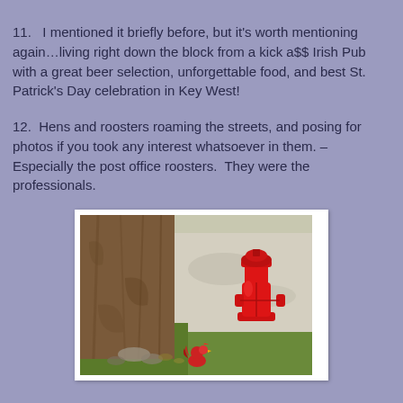11.   I mentioned it briefly before, but it's worth mentioning again…living right down the block from a kick a$$ Irish Pub with a great beer selection, unforgettable food, and best St. Patrick's Day celebration in Key West!
12.  Hens and roosters roaming the streets, and posing for photos if you took any interest whatsoever in them. – Especially the post office roosters.  They were the professionals.
[Figure (photo): A red fire hydrant next to a large tree trunk on a sidewalk, with grass and dappled sunlight. A small red rooster can be seen at the base.]